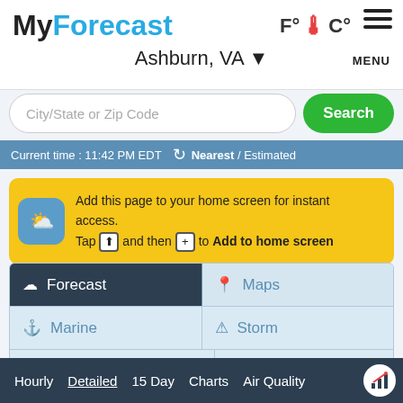MyForecast
Ashburn, VA
City/State or Zip Code
Search
Current time : 11:42 PM EDT  Nearest / Estimated
Add this page to your home screen for instant access. Tap and then to Add to home screen
Forecast
Maps
Marine
Storm
Special Reports
Hourly  Detailed  15 Day  Charts  Air Quality